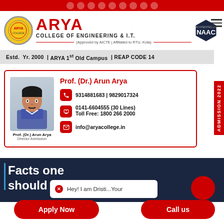Arya College of Engineering & I.T. — top navigation bar with icons
ARYA COLLEGE OF ENGINEERING & I.T.
(Approved by AICTE | Affiliated to RTU, Kota)
Estd. Yr. 2000 | ARYA 1st Old Campus | REAP CODE 14
Prof. (Dr.) Arun Arya
9314881683 | 9829017324
0141-6604555 (30 Lines)
Toll Free: 1800 266 2000
info@aryacollege.in
[Figure (photo): Photo of Prof. (Dr.) Arun Arya, Director Admission]
Facts one should know
Hey! I am Dristi...Your
Apply Now
Call us